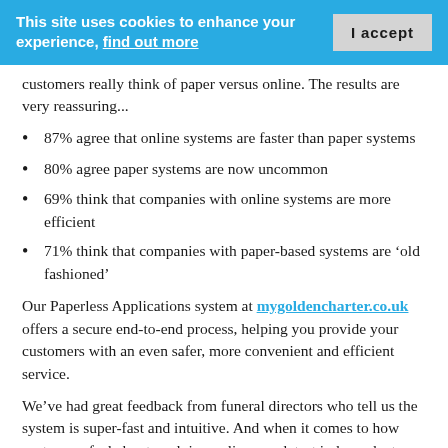This site uses cookies to enhance your experience, find out more | I accept
customers really think of paper versus online. The results are very reassuring...
87% agree that online systems are faster than paper systems
80% agree paper systems are now uncommon
69% think that companies with online systems are more efficient
71% think that companies with paper-based systems are ‘old fashioned’
Our Paperless Applications system at mygoldencharter.co.uk offers a secure end-to-end process, helping you provide your customers with an even safer, more convenient and efficient service.
We’ve had great feedback from funeral directors who tell us the system is super-fast and intuitive. And when it comes to how customers feel about applying online, our latest independent research results couldn’t be more